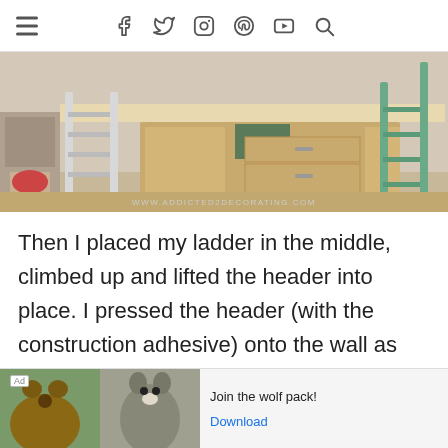≡  f  𝕥  ◎  𝕡  ▶  🔍
[Figure (photo): Kitchen under construction showing wooden cabinets with drawers, a ladder, and a plank of wood resting on top. Watermark reads www.addicted2decorating.com]
Then I placed my ladder in the middle, climbed up and lifted the header into place.  I pressed the header (with the construction adhesive) onto the wall as hard as I could and as far as I could reach.  I know from experience that construction adhesive will hold
[Figure (other): Ad banner showing a bear and a wolf image with text 'Join the wolf pack!' and a Download button]